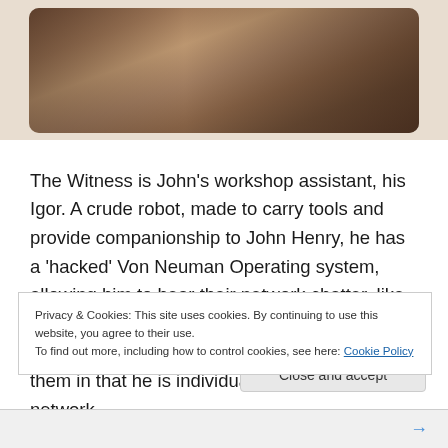[Figure (photo): Dark sepia-toned photo showing mechanical/organic objects, tools or machine parts in a workshop setting]
The Witness is John's workshop assistant, his Igor. A crude robot, made to carry tools and provide companionship to John Henry, he has a 'hacked' Von Neuman Operating system, allowing him to hear their network chatter, like listening to police scanners. In this way he can also communicate with the VN. He differs from them in that he is individuated, able to see the network
Privacy & Cookies: This site uses cookies. By continuing to use this website, you agree to their use.
To find out more, including how to control cookies, see here: Cookie Policy
Close and accept